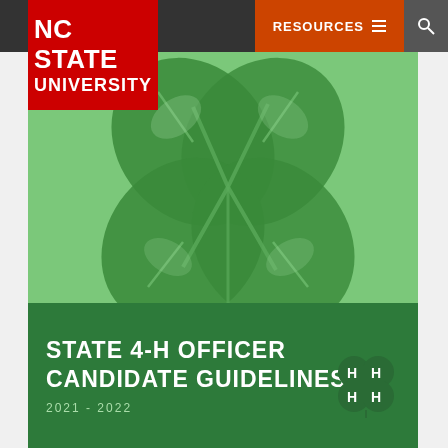NC STATE UNIVERSITY | RESOURCES | Search
[Figure (illustration): Four-leaf clover on green background with dark green overlay — cover image for State 4-H Officer Candidate Guidelines document]
STATE 4-H OFFICER CANDIDATE GUIDELINES
2021 - 2022